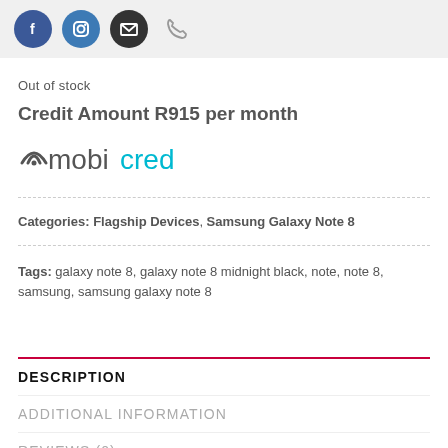Social icons: Facebook, Instagram, Email, Phone
Out of stock
Credit Amount R915 per month
[Figure (logo): Mobicred logo with wifi-style M icon and brand name in grey and teal]
Categories: Flagship Devices, Samsung Galaxy Note 8
Tags: galaxy note 8, galaxy note 8 midnight black, note, note 8, samsung, samsung galaxy note 8
DESCRIPTION
ADDITIONAL INFORMATION
REVIEWS (0)